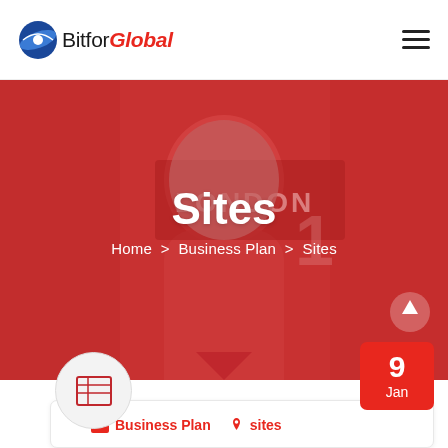Bitfor Global
[Figure (screenshot): Hero banner image showing a person from behind wearing a London jersey, with red overlay. Text reads 'Sites' and breadcrumb 'Home > Business Plan > Sites']
Sites
Home > Business Plan > Sites
[Figure (infographic): Content card with icon circle showing a table/grid icon, a red date badge showing '9 Jan', and category tags 'Business Plan' and 'sites']
Business Plan  sites